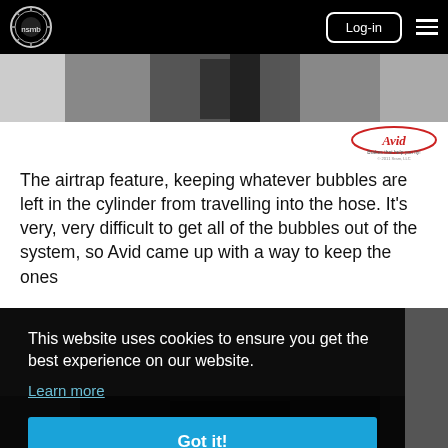nsmb Log-in
[Figure (photo): Partial view of a bicycle brake component, black and white photo at top of page]
[Figure (logo): Avid logo — Brakes that help you fly! © 2011 Sram, LLC]
The airtrap feature, keeping whatever bubbles are left in the cylinder from travelling into the hose. It's very, very difficult to get all of the bubbles out of the system, so Avid came up with a way to keep the ones
This website uses cookies to ensure you get the best experience on our website.
Learn more
Got it!
[Figure (photo): Partial bottom photo of bicycle brake component on grey background]